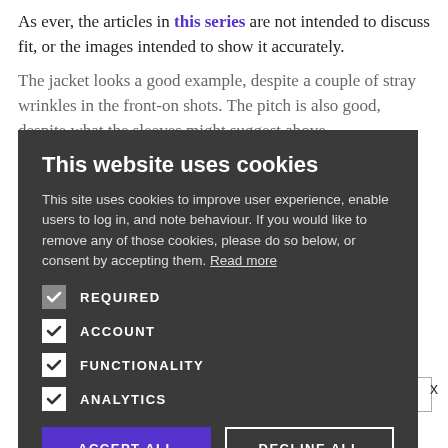As ever, the articles in this series are not intended to discuss fit, or the images intended to show it accurately.
The jacket looks a good example, despite a couple of stray wrinkles in the front-on shots. The pitch is also good, despite what the sleeves might suggest above.
One criticism, perhaps. However, is that those high armholes are catching me, and could have been lower.
The trousers shown with the jacket were not made by Lardini, but by Luxire in Crispaire 33705 (9/10 ounce).
The shirt is made by Luca Avitabile in Permanent Style Cloth; the spotted silk handkerchief is from
The Permanent Style website
[Figure (screenshot): Cookie consent modal overlay with dark grey background. Title: 'This website uses cookies'. Body text explaining cookie usage. Four options with checkboxes: REQUIRED (grey checkbox), ACCOUNT (white checkbox with tick), FUNCTIONALITY (white checkbox with tick), ANALYTICS (white checkbox with tick). Two buttons: 'ACCEPT ALL' (purple) and 'DECLINE ALL' (outlined). Read more link in body text.]
CLICK HERE TO REGISTER
Click here to read our Privacy Policy